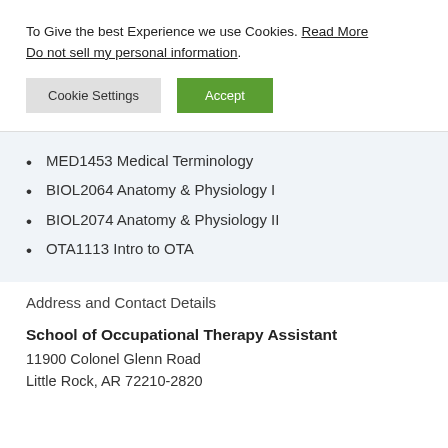To Give the best Experience we use Cookies. Read More Do not sell my personal information.
Cookie Settings | Accept
MED1453 Medical Terminology
BIOL2064 Anatomy & Physiology I
BIOL2074 Anatomy & Physiology II
OTA1113 Intro to OTA
Address and Contact Details
School of Occupational Therapy Assistant
11900 Colonel Glenn Road
Little Rock, AR 72210-2820